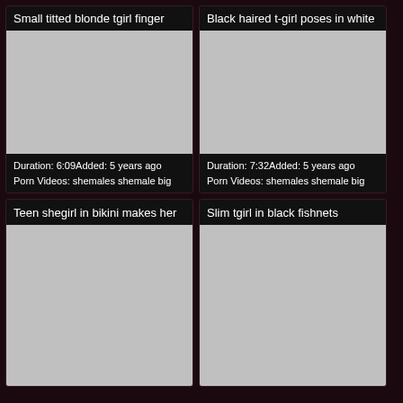[Figure (screenshot): Video thumbnail placeholder - grey rectangle]
Small titted blonde tgirl finger
Duration: 6:09Added: 5 years ago
Porn Videos: shemales shemale big
[Figure (screenshot): Video thumbnail placeholder - grey rectangle]
Black haired t-girl poses in white
Duration: 7:32Added: 5 years ago
Porn Videos: shemales shemale big
[Figure (screenshot): Video thumbnail placeholder - grey rectangle]
Teen shegirl in bikini makes her
[Figure (screenshot): Video thumbnail placeholder - grey rectangle]
Slim tgirl in black fishnets